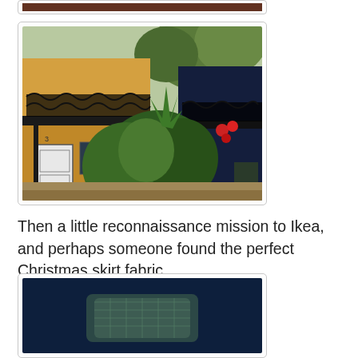[Figure (photo): Top portion of a photo partially visible at the top of the page, cropped]
[Figure (photo): Photo of a terrace row of old colonial-style buildings with ornate black wrought-iron balcony railings, yellow/orange rendered walls, lush green tropical plants in the foreground, and a dark navy blue building to the right. White door with number 3 visible. Trees in background.]
Then a little reconnaissance mission to Ikea, and perhaps someone found the perfect Christmas skirt fabric.
[Figure (photo): Partial photo visible at the bottom, appears to show a dark blue background with what looks like fabric or textile item]